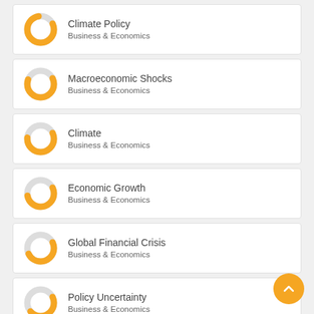Climate Policy — Business & Economics
Macroeconomic Shocks — Business & Economics
Climate — Business & Economics
Economic Growth — Business & Economics
Global Financial Crisis — Business & Economics
Policy Uncertainty — Business & Economics
Demographic Trends — Business & Economics
[Figure (other): Scroll to top button (orange circle with upward chevron)]